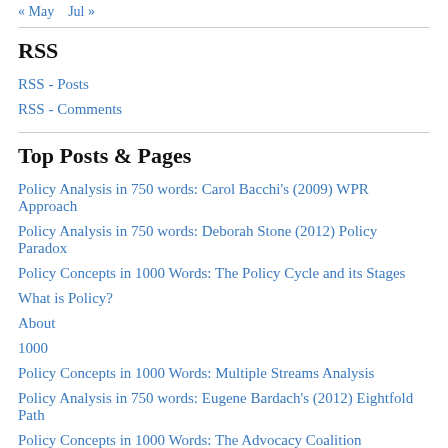« May   Jul »
RSS
RSS - Posts
RSS - Comments
Top Posts & Pages
Policy Analysis in 750 words: Carol Bacchi's (2009) WPR Approach
Policy Analysis in 750 words: Deborah Stone (2012) Policy Paradox
Policy Concepts in 1000 Words: The Policy Cycle and its Stages
What is Policy?
About
1000
Policy Concepts in 1000 Words: Multiple Streams Analysis
Policy Analysis in 750 words: Eugene Bardach's (2012) Eightfold Path
Policy Concepts in 1000 Words: The Advocacy Coalition Framework
Policy Analysis in 750 Words: Defining policy problems and choosing